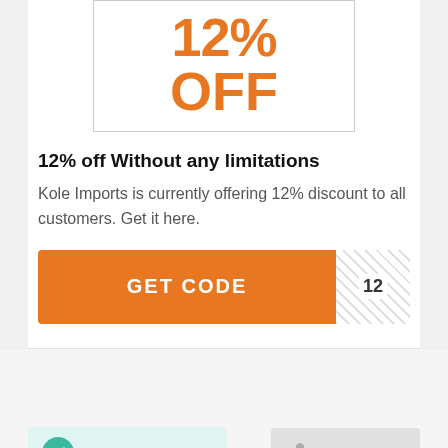[Figure (infographic): Coupon graphic showing '12% OFF' in large orange text inside a bordered box]
12% off Without any limitations
Kole Imports is currently offering 12% discount to all customers. Get it here.
[Figure (infographic): Orange GET CODE button with striped code reveal area showing '12']
[Figure (infographic): COUPON VERIFIED badge with teal checkmark and 52 USED TODAY badge with person icon, plus orange scroll-to-top button]